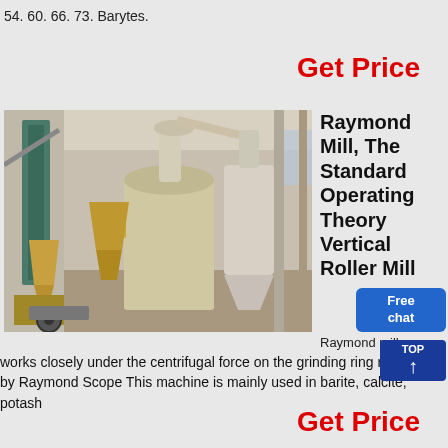54. 60. 66. 73. Barytes.
Get Price
[Figure (photo): Industrial Raymond mill / vertical roller mill equipment inside a factory building. Shows a large yellow/tan grinding mill system with cyclone separator and bucket elevator on the left, photographed indoors.]
Raymond Mill, The Standard Operating Theory Vertical Roller Mill
Raymond mill works closely under the centrifugal force on the grinding ring rolling by Raymond Scope This machine is mainly used in barite, calcite, potash
Get Price